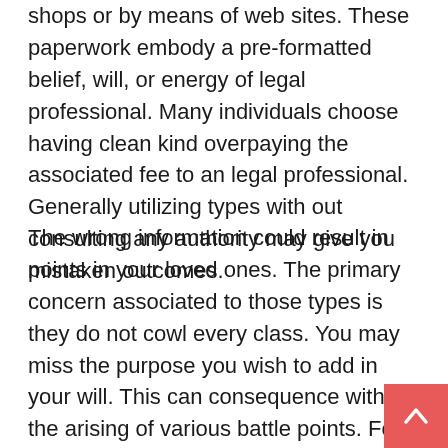shops or by means of web sites. These paperwork embody a pre-formatted belief, will, or energy of legal professional. Many individuals choose having clean kind overpaying the associated fee to an legal professional. Generally utilizing types with out consulting any authority may give you mistaken outcomes.
The wrong information could result in points in your loved ones. The primary concern associated to those types is they do not cowl every class. You may miss the purpose you wish to add in your will. This can consequence within the arising of various battle points. For instance, you might be operating of a enterprise, and you might be concerned in different valued transactions too then these pre-prepared types aren't meant for you, as they do not cowl your each facet. This might lead to not describing your will appropriately or passing on your online business, in your actual property that's